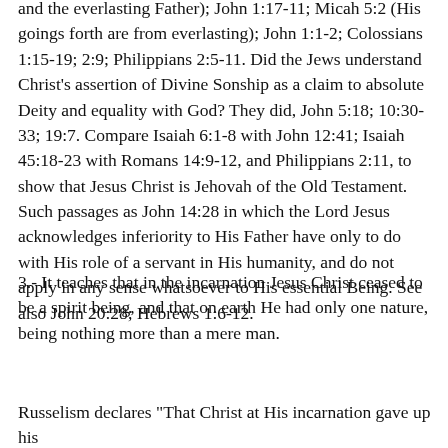and the everlasting Father); John 1:17-11; Micah 5:2 (His goings forth are from everlasting); John 1:1-2; Colossians 1:15-19; 2:9; Philippians 2:5-11. Did the Jews understand Christ's assertion of Divine Sonship as a claim to absolute Deity and equality with God? They did, John 5:18; 10:30-33; 19:7. Compare Isaiah 6:1-8 with John 12:41; Isaiah 45:18-23 with Romans 14:9-12, and Philippians 2:11, to show that Jesus Christ is Jehovah of the Old Testament. Such passages as John 14:28 in which the Lord Jesus acknowledges inferiority to His Father have only to do with His role of a servant in His humanity, and do not apply in any sense whatsoever to His essential Being. See also John 20:28; Hebrews 1:6-12.
3.- It teaches that in the incarnation Jesus Christ ceased to be a spirit being, and that on earth He had only one nature, being nothing more than a mere man.
Russelism declares "That Christ at His incarnation gave up his